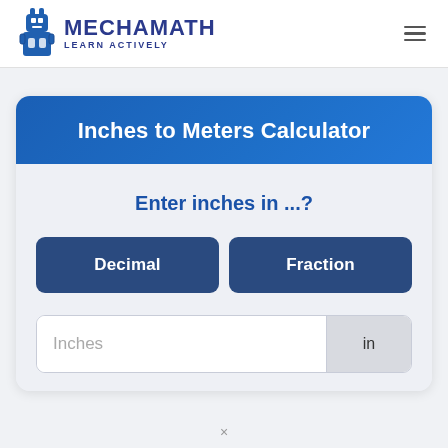MECHAMATH LEARN ACTIVELY
Inches to Meters Calculator
Enter inches in ...?
Decimal
Fraction
Inches
in